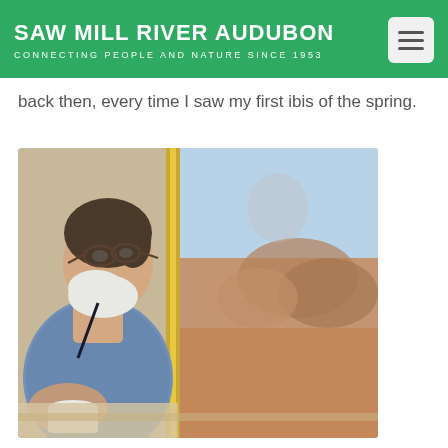SAW MILL RIVER AUDUBON
CONNECTING PEOPLE AND NATURE SINCE 1953
back then, every time I saw my first ibis of the spring.
[Figure (photo): An elderly man with white beard and glasses, sitting on a train looking out a window at a desert landscape with reddish rock formations visible through the glass.]